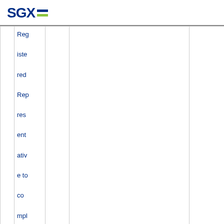SGX
|  | Registered Representative to comply with restricti |  |  |  |